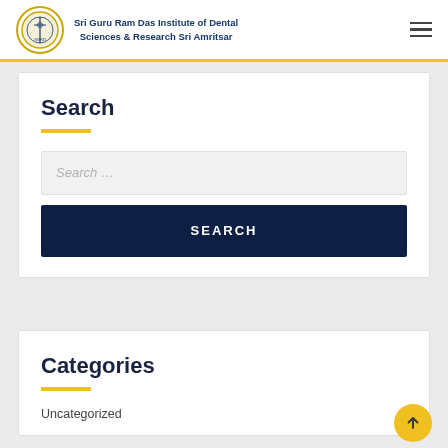Sri Guru Ram Das Institute of Dental Sciences & Research Sri Amritsar
Search
Search ...
SEARCH
Categories
Uncategorized